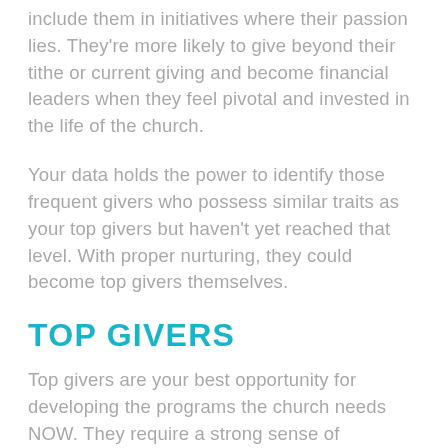include them in initiatives where their passion lies. They're more likely to give beyond their tithe or current giving and become financial leaders when they feel pivotal and invested in the life of the church.
Your data holds the power to identify those frequent givers who possess similar traits as your top givers but haven't yet reached that level. With proper nurturing, they could become top givers themselves.
TOP GIVERS
Top givers are your best opportunity for developing the programs the church needs NOW. They require a strong sense of relationship. Their interests and passions may